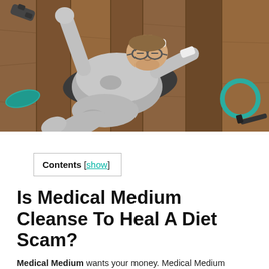[Figure (photo): Overhead view of an overweight man in workout clothes lying on a yoga mat on a wooden floor, surrounded by exercise equipment including a foam roller, resistance ring, and dumbbells. The man wears glasses, a white headband, and wristbands, appearing exhausted after exercising.]
Contents [show]
Is Medical Medium Cleanse To Heal A Diet Scam?
Medical Medium wants your money. Medical Medium